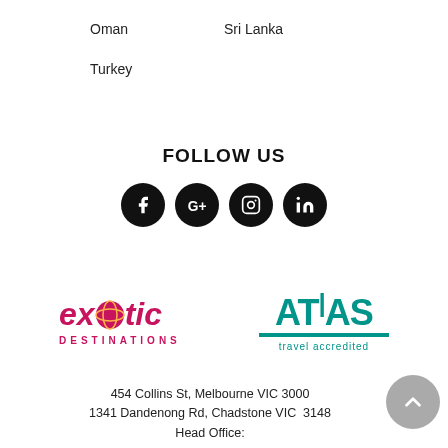Oman
Sri Lanka
Turkey
FOLLOW US
[Figure (illustration): Four social media icons (Facebook, Google+, Instagram, LinkedIn) as white symbols on black circles]
[Figure (logo): Exotic Destinations logo in pink/magenta with globe icon]
[Figure (logo): ATAS travel accredited logo in teal]
454 Collins St, Melbourne VIC 3000
1341 Dandenong Rd, Chadstone VIC  3148
Head Office: